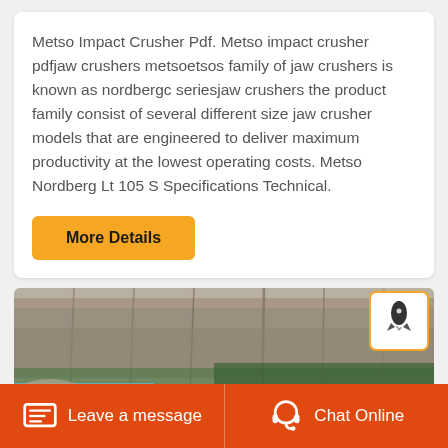Metso Impact Crusher Pdf. Metso impact crusher pdfjaw crushers metsoetsos family of jaw crushers is known as nordbergc seriesjaw crushers the product family consist of several different size jaw crusher models that are engineered to deliver maximum productivity at the lowest operating costs. Metso Nordberg Lt 105 S Specifications Technical.
[Figure (other): Yellow 'More Details' button]
[Figure (photo): Aerial photograph of rocky coastal cliff face with turquoise water and green vegetation]
Leave a message   Chat Online